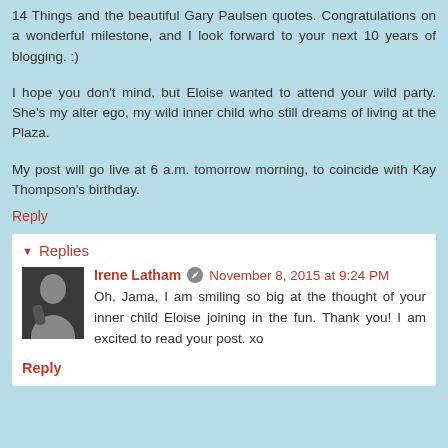14 Things and the beautiful Gary Paulsen quotes. Congratulations on a wonderful milestone, and I look forward to your next 10 years of blogging. :)
I hope you don't mind, but Eloise wanted to attend your wild party. She's my alter ego, my wild inner child who still dreams of living at the Plaza.
My post will go live at 6 a.m. tomorrow morning, to coincide with Kay Thompson's birthday.
Reply
Replies
Irene Latham  November 8, 2015 at 9:24 PM
Oh, Jama, I am smiling so big at the thought of your inner child Eloise joining in the fun. Thank you! I am excited to read your post. xo
Reply